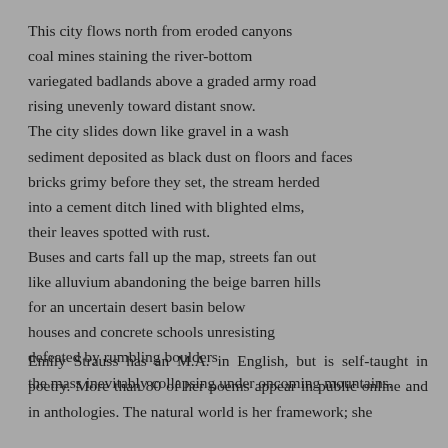This city flows north from eroded canyons
coal mines staining the river-bottom
variegated badlands above a graded army road
rising unevenly toward distant snow.
The city slides down like gravel in a wash
sediment deposited as black dust on floors and faces
bricks grimy before they set, the stream herded
into a cement ditch lined with blighted elms,
their leaves spotted with rust.
Buses and carts fall up the map, streets fan out
like alluvium abandoning the beige barren hills
for an uncertain desert basin below
houses and concrete schools unresisting
defeated by rumbling boulders
the mass inevitably collapsing under oncoming mountains.
Emily Strauss has an M.A. in English, but is self-taught in poetry. More than 80 of her poems appear in public online and in anthologies. The natural world is her framework; she focuses on the tension between nature and human activity.